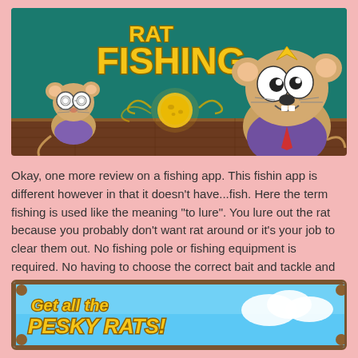[Figure (illustration): Rat Fishing game banner with two cartoon rats and cheese on a wooden floor with teal background. Title text 'RAT FISHING' in yellow letters.]
Okay, one more review on a fishing app. This fishin app is different however in that it doesn't have...fish. Here the term fishing is used like the meaning "to lure". You lure out the rat because you probably don't want rat around or it's your job to clear them out. No fishing pole or fishing equipment is required. No having to choose the correct bait and tackle and weight/sinker or bobble. No hooking body parts. Just your smartphone. You get the idea.
[Figure (illustration): Game screenshot banner with sky blue background showing wooden frame sign with text 'Get all the PESKY RATS!' in yellow letters with brown outline.]